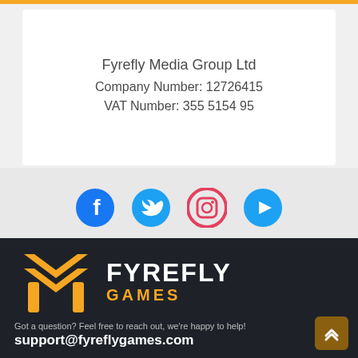Fyrefly Media Group Ltd
Company Number: 12726415
VAT Number: 355 5154 95
[Figure (logo): Social media icons: Facebook, Twitter, Instagram, YouTube]
[Figure (logo): Fyrefly Games logo with orange flame/arrow icon and FYREFLY GAMES text]
Got a question? Feel free to reach out, we're happy to help!
support@fyreflygames.com